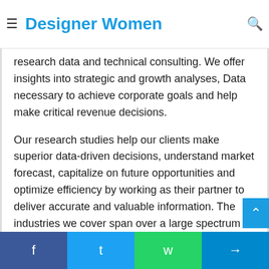Designer Women
custom consulting and in-depth data analysis for SMEs, Businesses, Industries and alike that are looking for Accurate, reliable and up to date research data and technical consulting. We offer insights into strategic and growth analyses, Data necessary to achieve corporate goals and help make critical revenue decisions.
Our research studies help our clients make superior data-driven decisions, understand market forecast, capitalize on future opportunities and optimize efficiency by working as their partner to deliver accurate and valuable information. The industries we cover span over a large spectrum including Technology, Chemicals, Manufacturing, Energy, Food and Beverages, Automotive, Robotics,